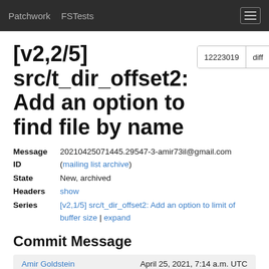Patchwork   FSTests
[v2,2/5] src/t_dir_offset2: Add an option to find file by name
| Field | Value |
| --- | --- |
| Message ID | 20210425071445.29547-3-amir73il@gmail.com (mailing list archive) |
| State | New, archived |
| Headers | show |
| Series | [v2,1/5] src/t_dir_offset2: Add an option to limit of buffer size | expand |
Commit Message
Amir Goldstein   April 25, 2021, 7:14 a.m. UTC